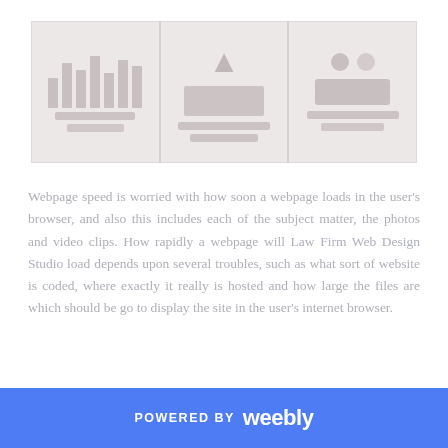[Figure (screenshot): A faded screenshot showing three panels of a website or application interface with bars, icons, and UI elements in muted pinkish-grey tones.]
Webpage speed is worried with how soon a webpage loads in the user's browser, and also this includes each of the subject matter, the photos and video clips. How rapidly a webpage will Law Firm Web Design Studio load depends upon several troubles, such as what sort of website is coded, where exactly it really is hosted and how large the files are which should be go to display the site in the user's internet browser.
POWERED BY weebly